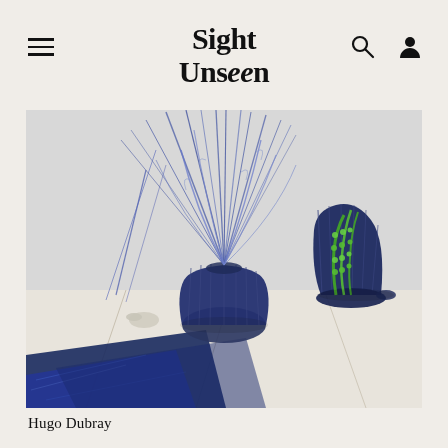Sight Unseen
[Figure (photo): Installation photo showing dark blue/navy ceramic vases on a marble surface. A large round ribbed vase holds blue-tinted dried grass and plant stems. A taller angular sculptural vase with green trailing succulents sits to the right. Blue marble or stone slabs are visible in the foreground. The background is a light grey wall.]
Hugo Dubray